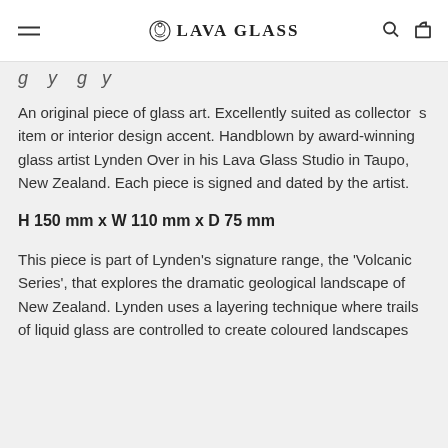LAVA GLASS
An original piece of glass art. Excellently suited as collector s item or interior design accent. Handblown by award-winning glass artist Lynden Over in his Lava Glass Studio in Taupo, New Zealand. Each piece is signed and dated by the artist.
H 150 mm x W 110 mm x D 75 mm
This piece is part of Lynden's signature range, the 'Volcanic Series', that explores the dramatic geological landscape of New Zealand. Lynden uses a layering technique where trails of liquid glass are controlled to create coloured landscapes